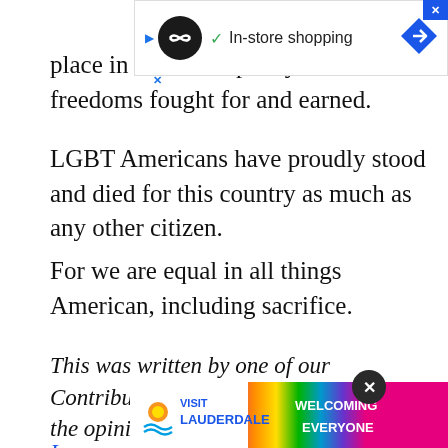[Figure (screenshot): Advertisement banner at top showing logo, In-store shopping text, checkmark, navigation arrow icon, and close buttons]
As w[e assert our] place in the vast tapestry of American freedoms fought for and earned.
LGBT Americans have proudly stood and died for this country as much as any other citizen.
For we are equal in all things American, including sacrifice.
This was written by one of our Contributing Writers and does not reflect the opinion of Instinct Magazine or the other Contributing Writers when it comes to this subject.
Imag[e credit]
[Figure (screenshot): Visit Lauderdale advertisement banner with rainbow progress flag and WELCOMING EVERYONE text, with close circle button]